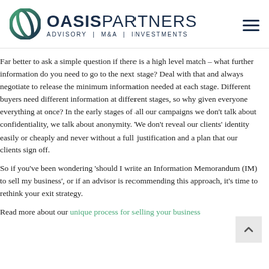[Figure (logo): Oasis Partners logo with circular gradient icon and text reading OASIS PARTNERS ADVISORY | M&A | INVESTMENTS]
Far better to ask a simple question if there is a high level match – what further information do you need to go to the next stage? Deal with that and always negotiate to release the minimum information needed at each stage. Different buyers need different information at different stages, so why given everyone everything at once? In the early stages of all our campaigns we don't talk about confidentiality, we talk about anonymity. We don't reveal our clients' identity easily or cheaply and never without a full justification and a plan that our clients sign off.
So if you've been wondering 'should I write an Information Memorandum (IM) to sell my business', or if an advisor is recommending this approach, it's time to rethink your exit strategy.
Read more about our unique process for selling your business